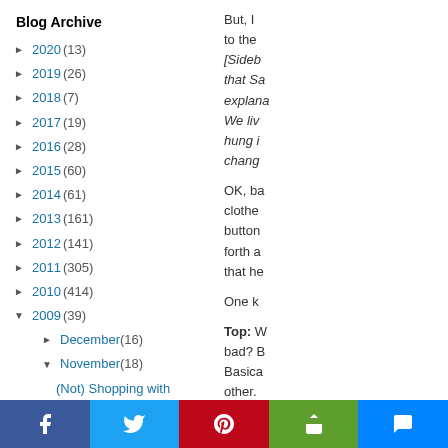Blog Archive
► 2020 (13)
► 2019 (26)
► 2018 (7)
► 2017 (19)
► 2016 (28)
► 2015 (60)
► 2014 (61)
► 2013 (161)
► 2012 (141)
► 2011 (305)
► 2010 (414)
▼ 2009 (39)
► December (16)
▼ November (18)
(Not) Shopping with Coupons
But, I to the [Sidebar that Sa explana We liv hung in chang
OK, ba clothe button forth a that he
One k
Top: W bad? B Basica other.
Facebook | Twitter | Pinterest | Share | Messenger